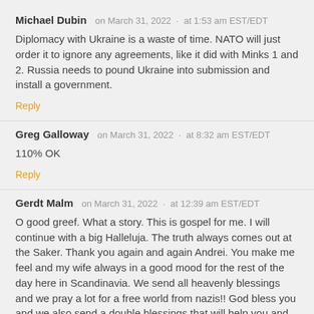Michael Dubin   on March 31, 2022  ·  at 1:53 am EST/EDT
Diplomacy with Ukraine is a waste of time. NATO will just order it to ignore any agreements, like it did with Minks 1 and 2. Russia needs to pound Ukraine into submission and install a government.
Reply
Greg Galloway    on March 31, 2022  ·  at 8:32 am EST/EDT
110% OK
Reply
Gerdt Malm   on March 31, 2022  ·  at 12:39 am EST/EDT
O good greef. What a story. This is gospel for me. I will continue with a big Halleluja. The truth always comes out at the Saker. Thank you again and again Andrei. You make me feel and my wife always in a good mood for the rest of the day here in Scandinavia. We send all heavenly blessings and we pray a lot for a free world from nazis!! God bless you and we also send a double blessings that will help you and your family. In